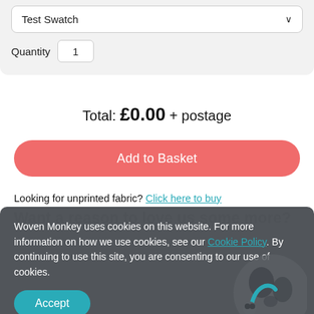Test Swatch
Quantity 1
Total: £0.00 + postage
Add to Basket
Looking for unprinted fabric? Click here to buy
Want a reason to love us some more?
Woven Monkey uses cookies on this website. For more information on how we use cookies, see our Cookie Policy. By continuing to use this site, you are consenting to our use of cookies.
Accept
[Figure (illustration): Partial globe illustration with a monkey figure, grey tones and teal accent, partially visible at bottom right of cookie banner]